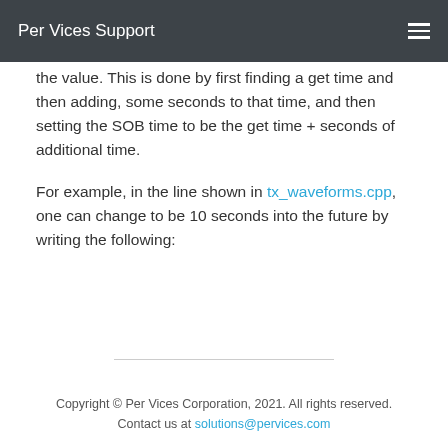Per Vices Support
the value. This is done by first finding a get time and then adding, some seconds to that time, and then setting the SOB time to be the get time + seconds of additional time.
For example, in the line shown in tx_waveforms.cpp, one can change to be 10 seconds into the future by writing the following:
Copyright © Per Vices Corporation, 2021. All rights reserved. Contact us at solutions@pervices.com